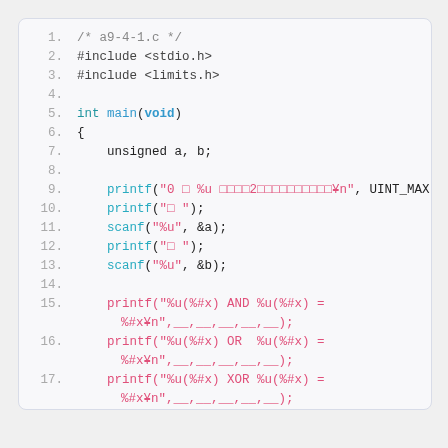[Figure (screenshot): Syntax-highlighted C source code listing for a9-4-1.c, showing lines 1-20 with line numbers. The code includes stdio.h and limits.h, defines main(void) with unsigned variables a and b, prints UINT_MAX, reads two unsigned integers, and prints their AND, OR, and XOR results in hex.]